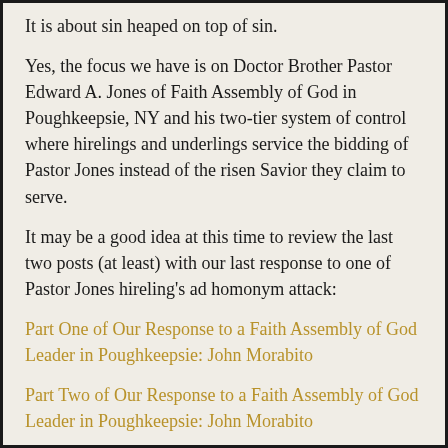It is about sin heaped on top of sin.
Yes, the focus we have is on Doctor Brother Pastor Edward A. Jones of Faith Assembly of God in Poughkeepsie, NY and his two-tier system of control where hirelings and underlings service the bidding of Pastor Jones instead of the risen Savior they claim to serve.
It may be a good idea at this time to review the last two posts (at least) with our last response to one of Pastor Jones hireling’s ad homonym attack:
Part One of Our Response to a Faith Assembly of God Leader in Poughkeepsie: John Morabito
Part Two of Our Response to a Faith Assembly of God Leader in Poughkeepsie: John Morabito
As we can. I have mention. As Christian, it i...